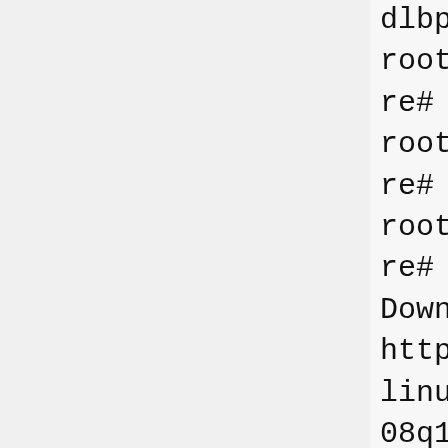dlbpre@castle:~$ sudo -s
root@castle:/var/home/dlbpre# mount -o remount,rw /
root@castle:/var/home/dlbpre# rm /opt/src/patches/*
root@castle:/var/home/dlbpre# ipkg-opt update
Downloading http://ipkg.nslu2-linux.org/feeds/optware/cs08q1armel/cross/unstable/Packages.gz
Inflating http://ipkg.nslu2-linux.org/feeds/optware/cs08q1armel/cross/unstable/Packages.gz
Updated list of available packages in /opt/lib/ipkg/lists/cross
Downloading http://ipkg.nslu2-linux.org/feeds/optware/cs08q1armel/native/unstable/Packages.gz